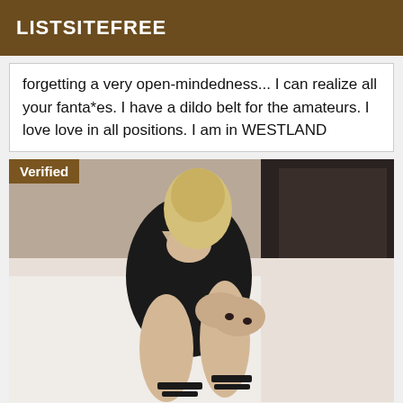LISTSITEFREE
forgetting a very open-mindedness... I can realize all your fanta*es. I have a dildo belt for the amateurs. I love love in all positions. I am in WESTLAND
[Figure (photo): Woman in black dress sitting on a bed with black heeled sandals, with a 'Verified' badge overlay in upper left corner]